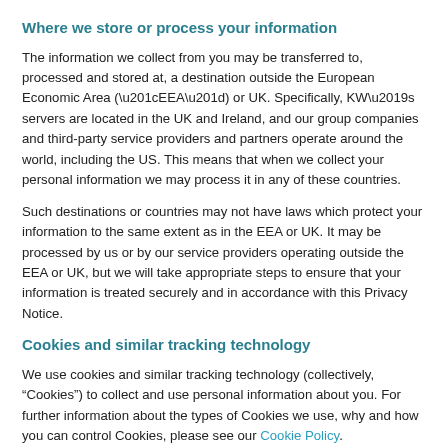Where we store or process your information
The information we collect from you may be transferred to, processed and stored at, a destination outside the European Economic Area (“EEA”) or UK. Specifically, KW’s servers are located in the UK and Ireland, and our group companies and third-party service providers and partners operate around the world, including the US. This means that when we collect your personal information we may process it in any of these countries.
Such destinations or countries may not have laws which protect your information to the same extent as in the EEA or UK. It may be processed by us or by our service providers operating outside the EEA or UK, but we will take appropriate steps to ensure that your information is treated securely and in accordance with this Privacy Notice.
Cookies and similar tracking technology
We use cookies and similar tracking technology (collectively, “Cookies”) to collect and use personal information about you. For further information about the types of Cookies we use, why and how you can control Cookies, please see our Cookie Policy.
How do we keep your personal information secure?